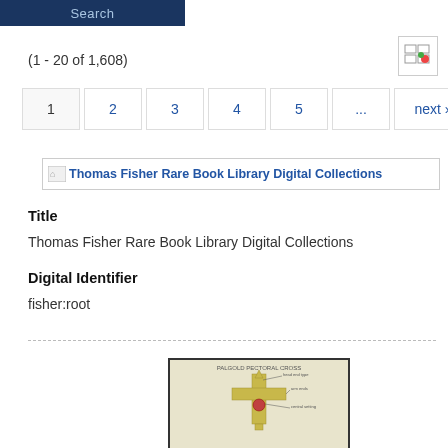Search
(1 - 20 of 1,608)
1  2  3  4  5  ...  next ›  last »
[Figure (screenshot): Broken image placeholder linking to Thomas Fisher Rare Book Library Digital Collections]
Title
Thomas Fisher Rare Book Library Digital Collections
Digital Identifier
fisher:root
[Figure (illustration): Thumbnail image of a pectoral cross drawing with label text, cream/beige background with a decorative gold cross illustration]